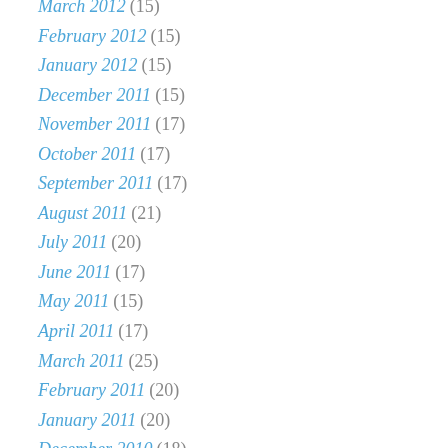March 2012 (15)
February 2012 (15)
January 2012 (15)
December 2011 (15)
November 2011 (17)
October 2011 (17)
September 2011 (17)
August 2011 (21)
July 2011 (20)
June 2011 (17)
May 2011 (15)
April 2011 (17)
March 2011 (25)
February 2011 (20)
January 2011 (20)
December 2010 (18)
November 2010 (21)
October 2010 (21)
September 2010 (25)
August 2010 (20)